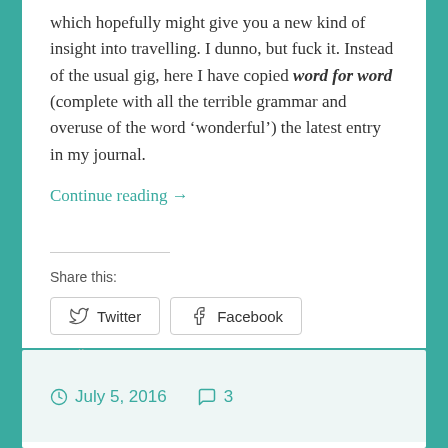which hopefully might give you a new kind of insight into travelling. I dunno, but fuck it. Instead of the usual gig, here I have copied word for word (complete with all the terrible grammar and overuse of the word ‘wonderful’) the latest entry in my journal.
Continue reading →
Share this:
Twitter
Facebook
Loading...
July 5, 2016   3